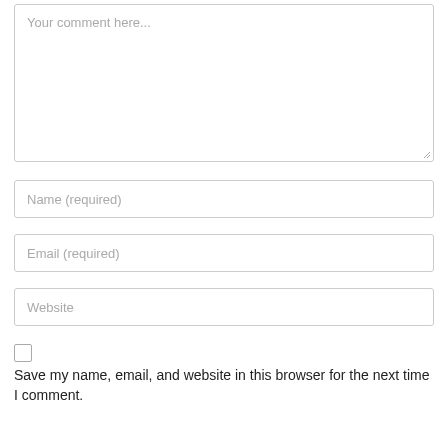[Figure (screenshot): Comment form with textarea placeholder 'Your comment here...', input fields for Name (required), Email (required), Website, and a checkbox with label 'Save my name, email, and website in this browser for the next time I comment.']
Save my name, email, and website in this browser for the next time I comment.